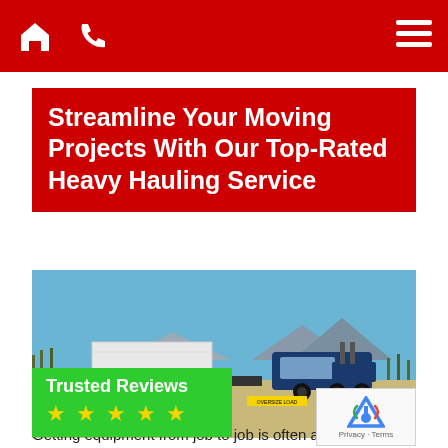Navigation bar with home icon, phone icon, and hamburger menu
Streamline Your Moving Projects With Our Top-Rated Heavy Hauling Service
[Figure (photo): A heavy-haul truck (blue Peterbilt) pulling a large white cargo on a multi-axle lowboy trailer across a desert road with mountains and clear blue sky in the background. An 'OVERSIZE LOAD' sign is visible on the back.]
Trusted Reviews
Getting equipment from job to job is often a challenge.